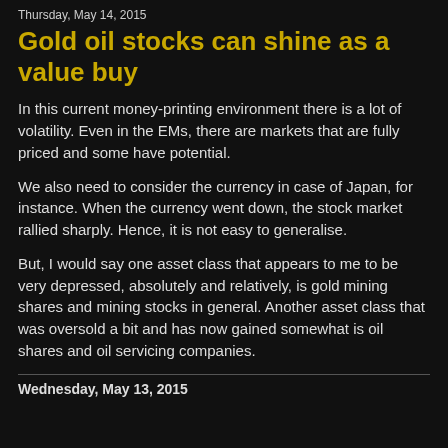Thursday, May 14, 2015
Gold oil stocks can shine as a value buy
In this current money-printing environment there is a lot of volatility. Even in the EMs, there are markets that are fully priced and some have potential.
We also need to consider the currency in case of Japan, for instance. When the currency went down, the stock market rallied sharply. Hence, it is not easy to generalise.
But, I would say one asset class that appears to me to be very depressed, absolutely and relatively, is gold mining shares and mining stocks in general. Another asset class that was oversold a bit and has now gained somewhat is oil shares and oil servicing companies.
Wednesday, May 13, 2015